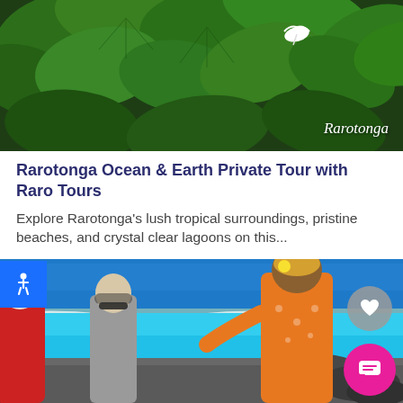[Figure (photo): Lush tropical green foliage with large heart-shaped leaves and a white bird visible, labeled 'Rarotonga' in bottom right corner]
Rarotonga Ocean & Earth Private Tour with Raro Tours
Explore Rarotonga's lush tropical surroundings, pristine beaches, and crystal clear lagoons on this...
[Figure (photo): Three people standing on rocky shoreline with crystal clear turquoise lagoon in background. A guide in orange floral shirt gestures while speaking to two women tourists. Blue sky above.]